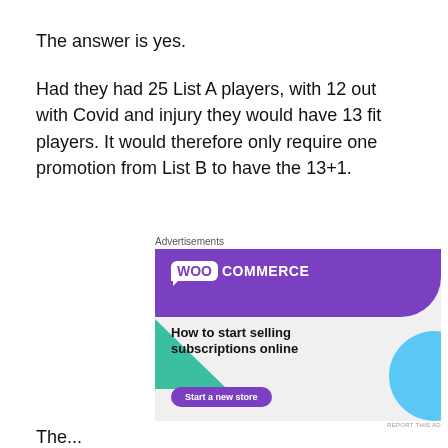The answer is yes.
Had they had 25 List A players, with 12 out with Covid and injury they would have 13 fit players. It would therefore only require one promotion from List B to have the 13+1.
[Figure (other): WooCommerce advertisement banner: 'How to start selling subscriptions online' with a 'Start a new store' button. Purple and teal/blue design with WooCommerce speech-bubble logo.]
The club...